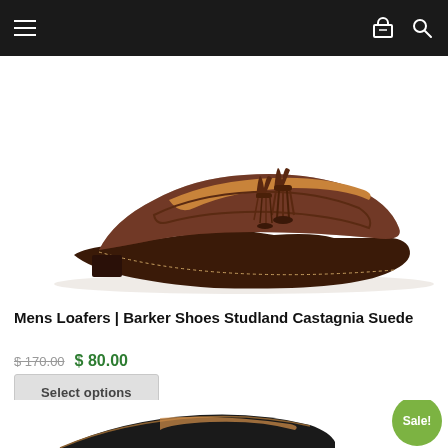Navigation bar with hamburger menu, cart icon, and search icon
[Figure (photo): Brown suede tassel loafer shoe (Barker Shoes Studland Castagnia Suede) shown from the side on a white background]
Mens Loafers | Barker Shoes Studland Castagnia Suede
$ 170.00  $ 80.00
Select options
[Figure (photo): Partial view of a second shoe (dark/black) partially visible at the bottom of the page, with a green Sale! badge in the lower right corner]